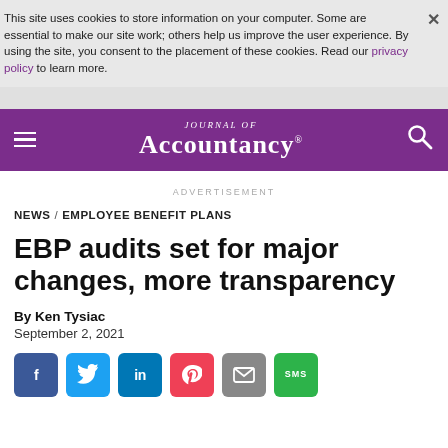This site uses cookies to store information on your computer. Some are essential to make our site work; others help us improve the user experience. By using the site, you consent to the placement of these cookies. Read our privacy policy to learn more.
[Figure (logo): Journal of Accountancy logo in white text on purple navigation bar with hamburger menu and search icon]
ADVERTISEMENT
NEWS / EMPLOYEE BENEFIT PLANS
EBP audits set for major changes, more transparency
By Ken Tysiac
September 2, 2021